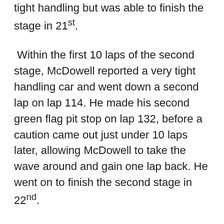tight handling but was able to finish the stage in 21st.
Within the first 10 laps of the second stage, McDowell reported a very tight handling car and went down a second lap on lap 114. He made his second green flag pit stop on lap 132, before a caution came out just under 10 laps later, allowing McDowell to take the wave around and gain one lap back. He went on to finish the second stage in 22nd.
McDowell pitted for tires and adjustments during the caution and was able to gain a spot on pit road to start the final stage in 21st and in position to race for the Lucky Dog spot. On lap 186, McDowell reported that he felt like one of his tires was beginning to go down. He made it just seven laps before the right front tire went completely flat, forcing the team to make an unscheduled green flag pit stop, which put them down a third lap.